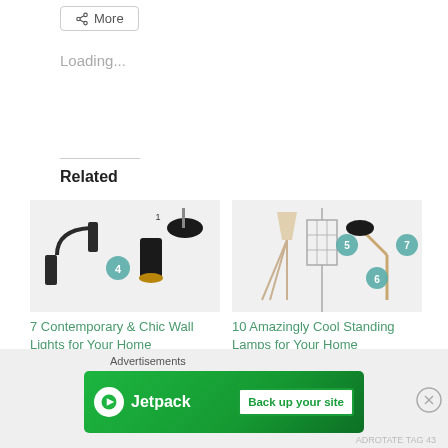More
Loading...
Related
[Figure (photo): Wall lights product collage showing contemporary wall lamps with numbered circles]
7 Contemporary & Chic Wall Lights for Your Home
May 3, 2017
In "Awesome Products"
[Figure (photo): Standing lamps product collage showing modern floor lamps with numbered circles]
10 Amazingly Cool Standing Lamps for Your Home
March 14, 2017
In "Awesome Products"
Advertisements
[Figure (other): Jetpack advertisement banner: green background with Jetpack logo and 'Back up your site' button]